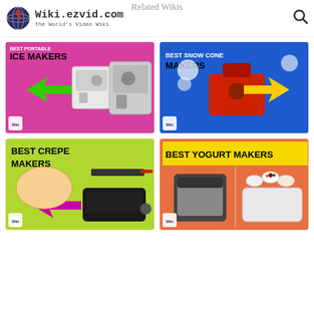Wiki.ezvid.com — The World's Video Wiki
Related Wikis
[Figure (illustration): Best Portable Ice Makers wiki thumbnail with pink background, two ice maker machines, and a green arrow]
[Figure (illustration): Best Snow Cone Makers wiki thumbnail with blue background, a red snow cone machine, and a yellow arrow]
[Figure (illustration): Best Crepe Makers wiki thumbnail with lime green background, crepe maker appliances, and a pink/purple arrow]
[Figure (illustration): Best Yogurt Makers wiki thumbnail with orange background and yogurt making appliances]